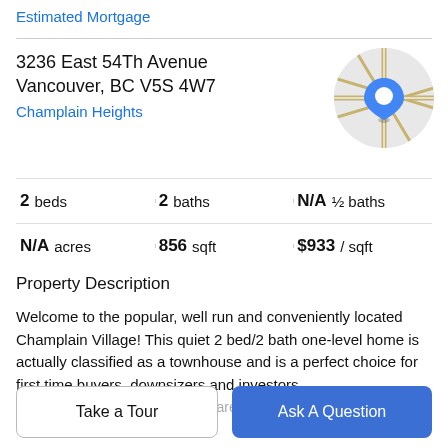Estimated Mortgage
3236 East 54Th Avenue
Vancouver, BC V5S 4W7
Champlain Heights
[Figure (map): Circular Google Maps thumbnail showing street map with blue location pin marker]
| 2 beds | 2 baths | N/A ½ baths |
| N/A acres | 856 sqft | $933 / sqft |
Property Description
Welcome to the popular, well run and conveniently located Champlain Village! This quiet 2 bed/2 bath one-level home is actually classified as a townhouse and is a perfect choice for first time buyers, downsizers and investors alike. This freshly painted, well cared for home is in
Take a Tour
Ask A Question